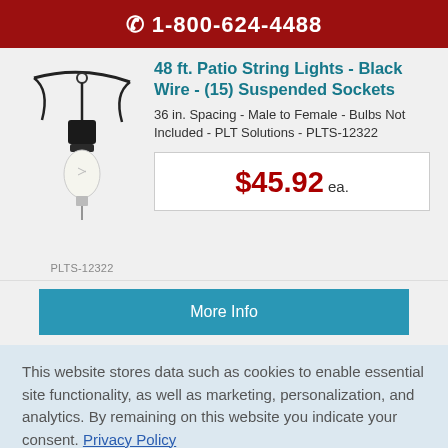1-800-624-4488
[Figure (photo): Photo of a string light with black wire and a suspended socket with a clear globe bulb, hanging against white background]
PLTS-12322
48 ft. Patio String Lights - Black Wire - (15) Suspended Sockets
36 in. Spacing - Male to Female - Bulbs Not Included - PLT Solutions - PLTS-12322
$45.92 ea.
More Info
This website stores data such as cookies to enable essential site functionality, as well as marketing, personalization, and analytics. By remaining on this website you indicate your consent. Privacy Policy